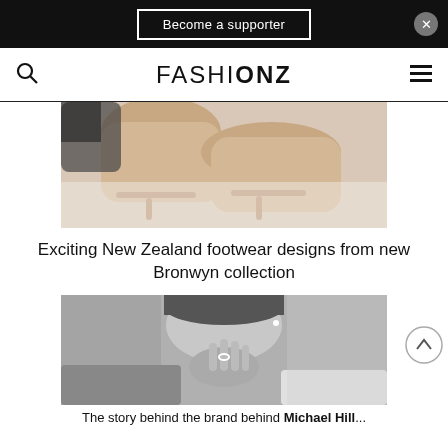Become a supporter
FASHIONZ
[Figure (photo): Close-up of legs wearing nude/blush strappy heeled sandals against a light background]
Exciting New Zealand footwear designs from new Bronwyn collection
[Figure (photo): Black and white close-up portrait of a woman touching her chin, wearing a ring, shown from chin to chest]
The story behind the brand behind Michael Hill...